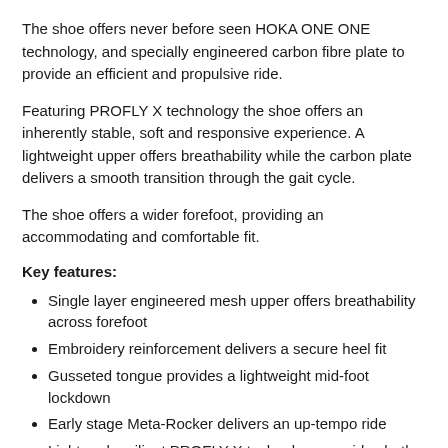The shoe offers never before seen HOKA ONE ONE technology, and specially engineered carbon fibre plate to provide an efficient and propulsive ride.
Featuring PROFLY X technology the shoe offers an inherently stable, soft and responsive experience. A lightweight upper offers breathability while the carbon plate delivers a smooth transition through the gait cycle.
The shoe offers a wider forefoot, providing an accommodating and comfortable fit.
Key features:
Single layer engineered mesh upper offers breathability across forefoot
Embroidery reinforcement delivers a secure heel fit
Gusseted tongue provides a lightweight mid-foot lockdown
Early stage Meta-Rocker delivers an up-tempo ride
Light and resilient PROFLY X technology provides both a soft and propulsive experience
Carefully positioned Carbon fiber plate curls under the lateral toes to deliver a smooth transition through the gait